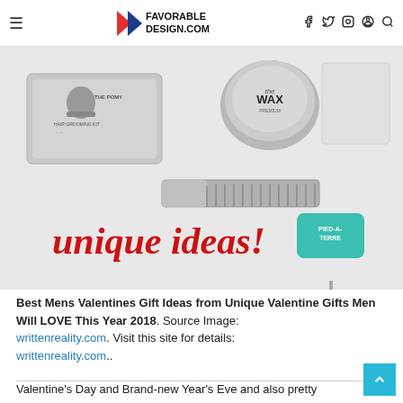FAVORABLE DESIGN.COM
[Figure (photo): Flat lay of men's grooming kit items including a metal tin labeled 'The Pomade Hair Grooming Kit', a wax tin, a metal comb, and a keyring with a teal tag reading 'Pied-a-Terre'. Red cursive text overlay reads 'unique ideas!']
Best Mens Valentines Gift Ideas from Unique Valentine Gifts Men Will LOVE This Year 2018. Source Image: writtenreality.com. Visit this site for details: writtenreality.com..
Valentine's Day and Brand-new Year's Eve and also pretty